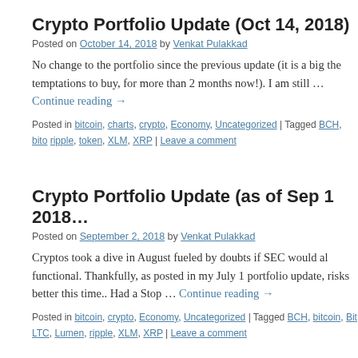Crypto Portfolio Update (Oct 14, 2018)
Posted on October 14, 2018 by Venkat Pulakkad
No change to the portfolio since the previous update (it is a big the temptations to buy, for more than 2 months now!). I am still … Continue reading →
Posted in bitcoin, charts, crypto, Economy, Uncategorized | Tagged BCH, bito ripple, token, XLM, XRP | Leave a comment
Crypto Portfolio Update (as of Sep 1 2018…
Posted on September 2, 2018 by Venkat Pulakkad
Cryptos took a dive in August fueled by doubts if SEC would al functional. Thankfully, as posted in my July 1 portfolio update, risks better this time.. Had a Stop … Continue reading →
Posted in bitcoin, crypto, Economy, Uncategorized | Tagged BCH, bitcoin, Bit LTC, Lumen, ripple, XLM, XRP | Leave a comment